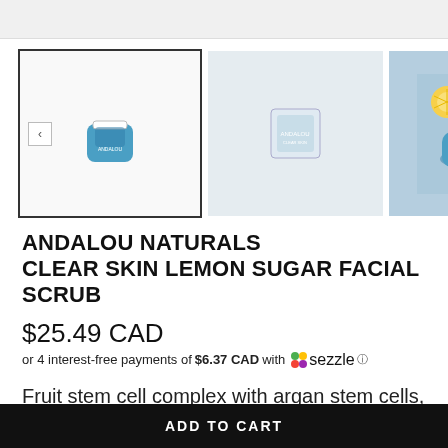[Figure (screenshot): Top gray banner bar of e-commerce page]
[Figure (photo): Product image gallery showing three thumbnails: selected thumbnail with left arrow showing Andalou Naturals blue jar product, middle thumbnail showing product box, right thumbnail showing product jar opened on blue background with lemon slice, right arrow navigation]
ANDALOU NATURALS CLEAR SKIN LEMON SUGAR FACIAL SCRUB
$25.49 CAD
or 4 interest-free payments of $6.37 CAD with Sezzle ℹ
Fruit stem cell complex with argan stem cells, manuka honey and organic cane sugar gently
ADD TO CART